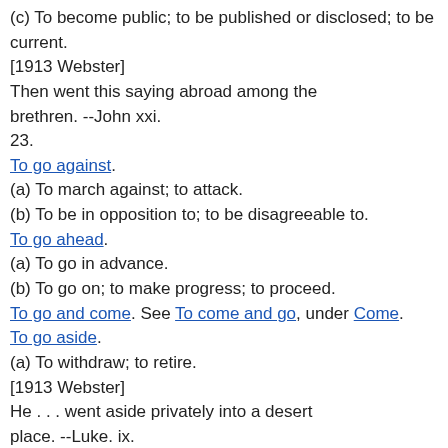(c) To become public; to be published or disclosed; to be current.
[1913 Webster]
Then went this saying abroad among the brethren. --John xxi. 23.
To go against.
(a) To march against; to attack.
(b) To be in opposition to; to be disagreeable to.
To go ahead.
(a) To go in advance.
(b) To go on; to make progress; to proceed.
To go and come. See To come and go, under Come.
To go aside.
(a) To withdraw; to retire.
[1913 Webster]
He . . . went aside privately into a desert place. --Luke. ix. 10.